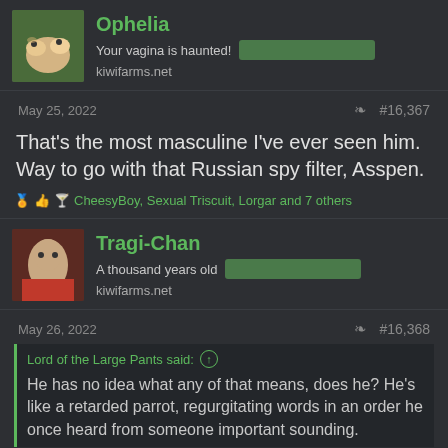Ophelia
Your vagina is haunted! kiwifarms.net
May 25, 2022  #16,367
That's the most masculine I've ever seen him. Way to go with that Russian spy filter, Asspen.
CheesyBoy, Sexual Triscuit, Lorgar and 7 others
Tragi-Chan
A thousand years old kiwifarms.net
May 26, 2022  #16,368
Lord of the Large Pants said:
He has no idea what any of that means, does he? He's like a retarded parrot, regurgitating words in an order he once heard from someone important sounding.
I like the way he frames it as a quote. Like he's BRing a